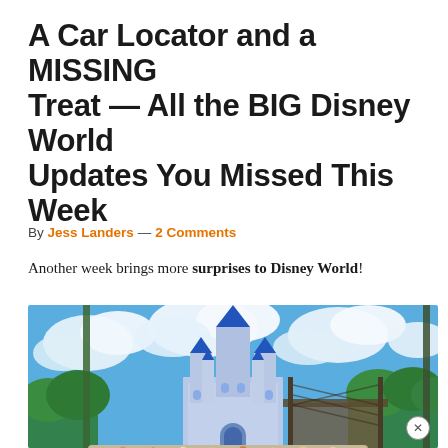A Car Locator and a MISSING Treat — All the BIG Disney World Updates You Missed This Week
By Jess Landers — 2 Comments
Another week brings more surprises to Disney World!
[Figure (photo): Wide-angle photo of Cinderella Castle at Magic Kingdom, Disney World, with dramatic blue sky, white clouds, green trees, crowds of visitors in foreground, and a stage structure to the right. The image is partially reflected/mirrored at the bottom.]